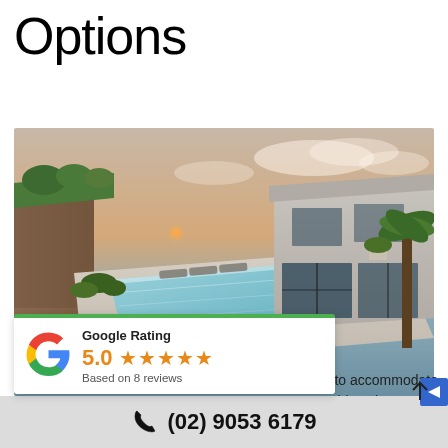Options
[Figure (photo): Aerial/elevated view of a modern luxury home with a rectangular swimming pool, surrounded by tropical landscaping, lounge chairs, and a glass-walled house at dusk.]
Google Rating
5.0 ★★★★★
Based on 8 reviews
de to accommodate
easide salt spray, low
temperature levels, rainfall and the like. These
(02) 9053 6179